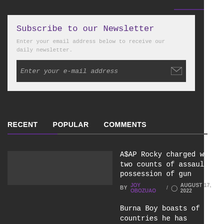Subscribe to our Newsletter
Enter your e-mail address
RECENT   POPULAR   COMMENTS
A$AP Rocky charged with two counts of assault, possession of gun
BY JOY OBOZUAO / AUGUST 17, 2022
Burna Boy boasts of countries he has